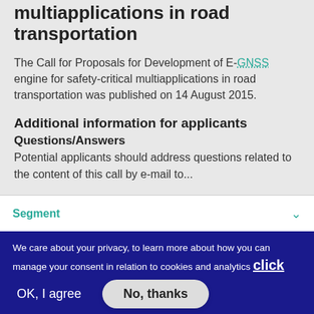multiapplications in road transportation
The Call for Proposals for Development of E-GNSS engine for safety-critical multiapplications in road transportation was published on 14 August 2015.
Additional information for applicants
Questions/Answers
Potential applicants should address questions related to the content of this call by e-mail to...
Segment
We care about your privacy, to learn more about how you can manage your consent in relation to cookies and analytics click here
OK, I agree
No, thanks